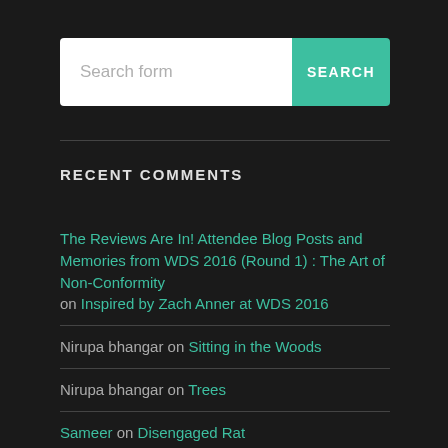[Figure (other): Search form input with teal SEARCH button]
RECENT COMMENTS
The Reviews Are In! Attendee Blog Posts and Memories from WDS 2016 (Round 1) : The Art of Non-Conformity on Inspired by Zach Anner at WDS 2016
Nirupa bhangar on Sitting in the Woods
Nirupa bhangar on Trees
Sameer on Disengaged Rat
Sameer on Don't shut the voice